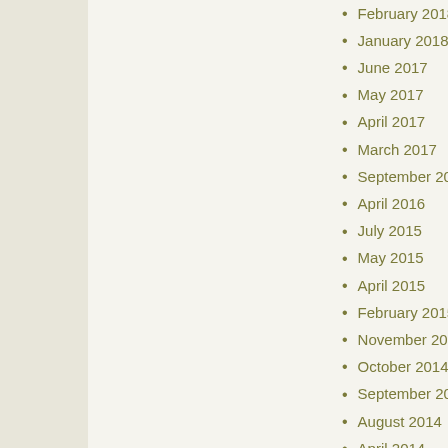February 2018
January 2018
June 2017
May 2017
April 2017
March 2017
September 2016
April 2016
July 2015
May 2015
April 2015
February 2015
November 2014
October 2014
September 2014
August 2014
April 2014
March 2014
February 2014
October 2013
August 2013
July 2013